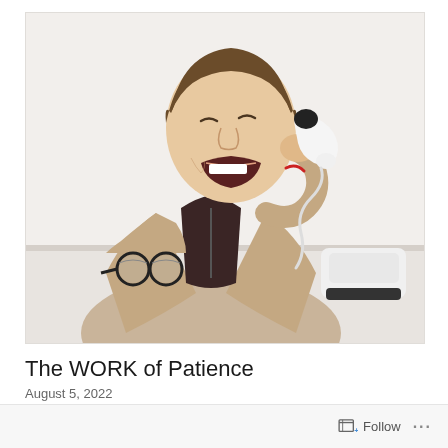[Figure (photo): A young man in a beige blazer over a dark shirt shouting into the receiver of a white desk telephone, leaning forward on a white surface. Black-framed glasses lie on the desk to his left.]
The WORK of Patience
August 5, 2022
Follow ...